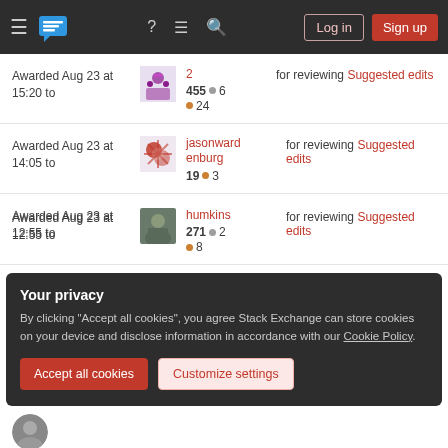Stack Exchange navigation bar with hamburger menu, logo, help, chat, search, Log in, Sign up
Awarded Aug 23 at 15:20 to [user: 2, 455 rep, 6 silver, 24 bronze] for reviewing Suggested edits
Awarded Aug 23 at 14:05 to jasonwardenburg [19 rep, 3 bronze] for reviewing Suggested edits
Awarded Aug 23 at 12:55 to humkins [271 rep, 2 silver, 8 bronze] for reviewing Suggested edits
Your privacy
By clicking "Accept all cookies", you agree Stack Exchange can store cookies on your device and disclose information in accordance with our Cookie Policy.